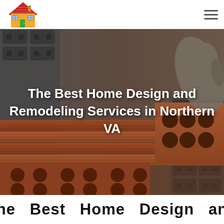[Figure (logo): House logo: cartoon house with red roof, orange walls, green door, blue windows]
[Figure (photo): Construction/masonry background photo showing terracotta bricks and cinder blocks, partially desaturated. A gloved hand holds a brick on the right side.]
The Best Home Design and Remodeling Services in Northern VA
The Best Home Design and